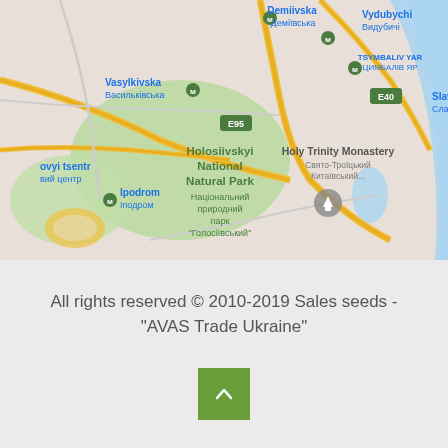[Figure (map): Google Maps screenshot showing southern Kyiv, Ukraine area including Holosiivskyi National Natural Park, Holy Trinity Monastery, Vasylkivska, Demiivska, Vydubychi metro stations, Ipodrom, with street labels in both English and Ukrainian, road E95 and E40 visible, Dnipro river visible on right edge.]
All rights reserved © 2010-2019 Sales seeds - "AVAS Trade Ukraine"